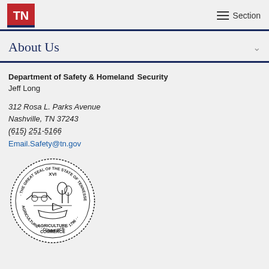TN | Section
About Us
Department of Safety & Homeland Security
Jeff Long
312 Rosa L. Parks Avenue
Nashville, TN 37243
(615) 251-5166
Email.Safety@tn.gov
[Figure (illustration): The Great Seal of the State of Tennessee, circular seal with Agriculture and Commerce text, dated 1796]